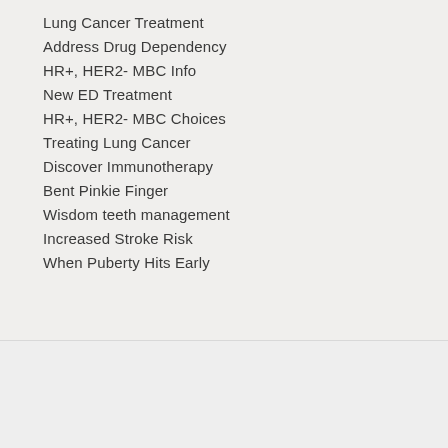Lung Cancer Treatment
Address Drug Dependency
HR+, HER2- MBC Info
New ED Treatment
HR+, HER2- MBC Choices
Treating Lung Cancer
Discover Immunotherapy
Bent Pinkie Finger
Wisdom teeth management
Increased Stroke Risk
When Puberty Hits Early
More from WebMD
ADVERTISEMENT